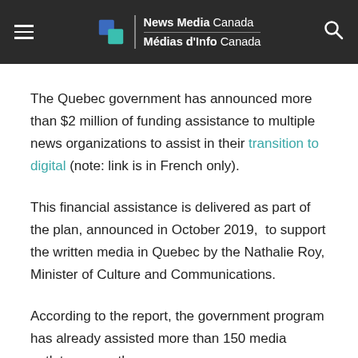News Media Canada / Médias d'Info Canada
The Quebec government has announced more than $2 million of funding assistance to multiple news organizations to assist in their transition to digital (note: link is in French only).
This financial assistance is delivered as part of the plan, announced in October 2019, to support the written media in Quebec by the Nathalie Roy, Minister of Culture and Communications.
According to the report, the government program has already assisted more than 150 media outlets across the